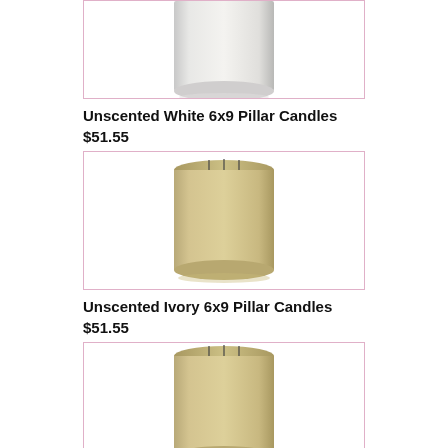[Figure (photo): Partial view of a white pillar candle from above, cropped at top of image]
Unscented White 6x9 Pillar Candles
$51.55
[Figure (photo): Ivory/tan colored 6x9 pillar candle with three wicks visible at top]
Unscented Ivory 6x9 Pillar Candles
$51.55
[Figure (photo): Ivory/tan colored 6x9 pillar candle with three wicks visible at top, partial bottom view]